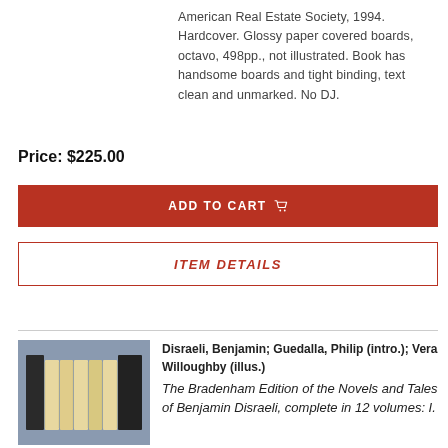American Real Estate Society, 1994. Hardcover. Glossy paper covered boards, octavo, 498pp., not illustrated. Book has handsome boards and tight binding, text clean and unmarked. No DJ.
Price: $225.00
ADD TO CART
ITEM DETAILS
[Figure (photo): Stack of books with leather and cloth spines on a gray background]
Disraeli, Benjamin; Guedalla, Philip (intro.); Vera Willoughby (illus.)
The Bradenham Edition of the Novels and Tales of Benjamin Disraeli, complete in 12 volumes: I.